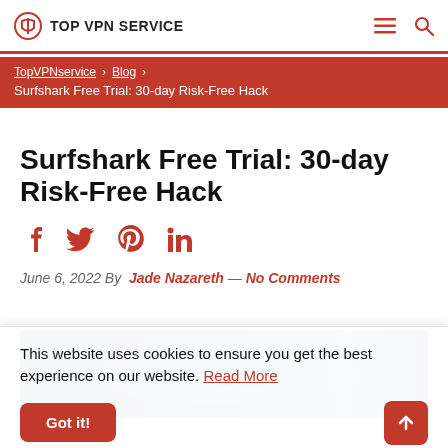TOP VPN SERVICE
TopVPNservice > Blog > Surfshark Free Trial: 30-day Risk-Free Hack
Surfshark Free Trial: 30-day Risk-Free Hack
[Figure (infographic): Social media share icons: Facebook, Twitter, Pinterest, LinkedIn in red]
June 6, 2022 By Jade Nazareth — No Comments
[Figure (photo): Hero image with blue/dark navy gradient background, partially visible]
This website uses cookies to ensure you get the best experience on our website. Read More